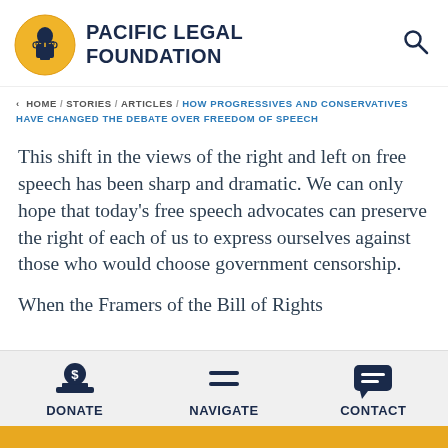[Figure (logo): Pacific Legal Foundation logo: circular yellow badge with figure of justice and scales, beside bold text PACIFIC LEGAL FOUNDATION]
HOME / STORIES / ARTICLES / HOW PROGRESSIVES AND CONSERVATIVES HAVE CHANGED THE DEBATE OVER FREEDOM OF SPEECH
This shift in the views of the right and left on free speech has been sharp and dramatic. We can only hope that today's free speech advocates can preserve the right of each of us to express ourselves against those who would choose government censorship.
When the Framers of the Bill of Rights
[Figure (infographic): Bottom navigation bar with three icons: DONATE (dollar sign on pedestal), NAVIGATE (hamburger menu lines), CONTACT (speech bubble with lines)]